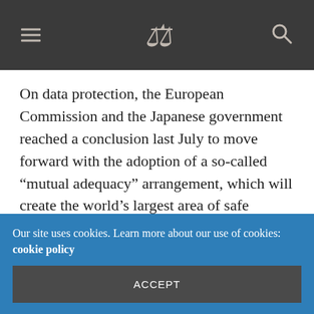Navigation header with hamburger menu, scales of justice logo, and search icon
On data protection, the European Commission and the Japanese government reached a conclusion last July to move forward with the adoption of a so-called “mutual adequacy” arrangement, which will create the world’s largest area of safe transfers of data.
For the first time, an EU-negotiated trade agreement will include a chapter on corporate governance. It is based on the G20/OECD’s
Our site uses cookies. Learn more about our use of cookies: cookie policy
ACCEPT